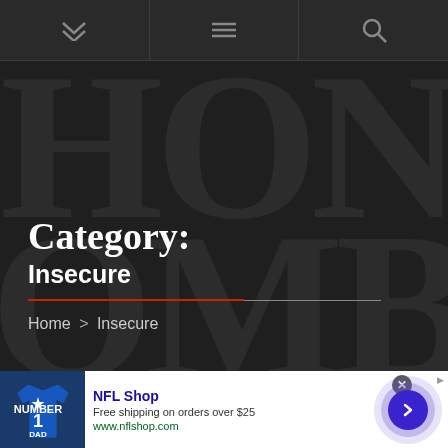Navigation bar with chevron, hamburger menu, and search icons
Category:
Insecure
Home > Insecure
[Figure (screenshot): NFL Shop advertisement banner: jersey image, 'NFL Shop' title, 'Free shipping on orders over $25', 'www.nflshop.com', close button, arrow button]